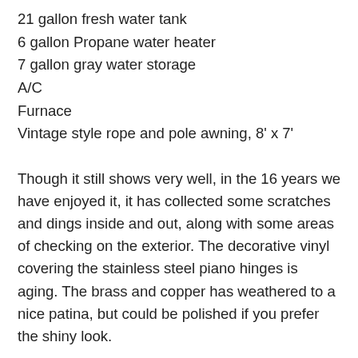21 gallon fresh water tank
6 gallon Propane water heater
7 gallon gray water storage
A/C
Furnace
Vintage style rope and pole awning, 8' x 7'
Though it still shows very well, in the 16 years we have enjoyed it, it has collected some scratches and dings inside and out, along with some areas of checking on the exterior. The decorative vinyl covering the stainless steel piano hinges is aging. The brass and copper has weathered to a nice patina, but could be polished if you prefer the shiny look.
If there is something you want more information about, please ask! I want the next owner to be as happy and satisfied as we have been!
We designed this trailer because we love camping, but